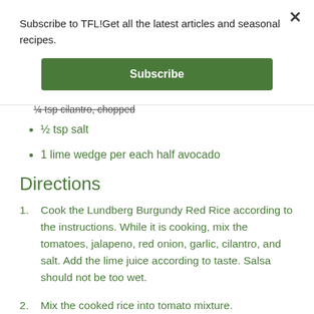Subscribe to TFL! Get all the latest articles and seasonal recipes.
Subscribe
¼ tsp cilantro, chopped
½ tsp salt
1 lime wedge per each half avocado
Directions
Cook the Lundberg Burgundy Red Rice according to the instructions. While it is cooking, mix the tomatoes, jalapeno, red onion, garlic, cilantro, and salt. Add the lime juice according to taste. Salsa should not be too wet.
Mix the cooked rice into tomato mixture.